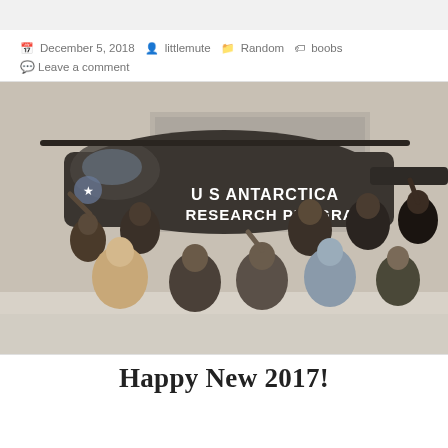December 5, 2018  littlemute  Random  boobs  Leave a comment
[Figure (photo): Group photo of approximately 12 men in heavy winter gear posed in front of a US military helicopter painted dark/olive with text 'U S ANTARCTICA RESEARCH PROGRAM'. The setting appears to be a snowy Antarctic base. People are waving and giving peace signs.]
Happy New 2017!